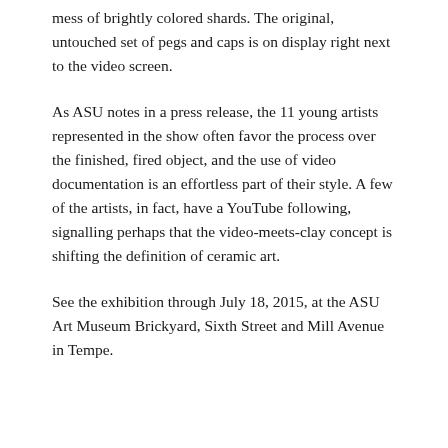mess of brightly colored shards. The original, untouched set of pegs and caps is on display right next to the video screen.
As ASU notes in a press release, the 11 young artists represented in the show often favor the process over the finished, fired object, and the use of video documentation is an effortless part of their style. A few of the artists, in fact, have a YouTube following, signalling perhaps that the video-meets-clay concept is shifting the definition of ceramic art.
See the exhibition through July 18, 2015, at the ASU Art Museum Brickyard, Sixth Street and Mill Avenue in Tempe.